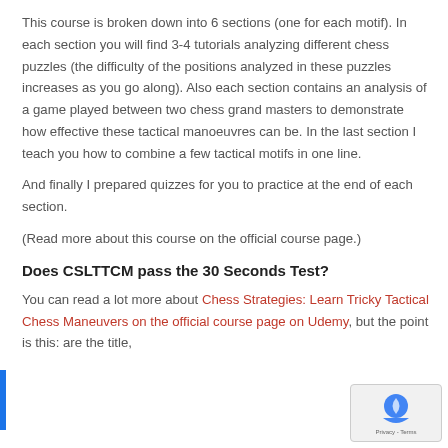This course is broken down into 6 sections (one for each motif). In each section you will find 3-4 tutorials analyzing different chess puzzles (the difficulty of the positions analyzed in these puzzles increases as you go along). Also each section contains an analysis of a game played between two chess grand masters to demonstrate how effective these tactical manoeuvres can be. In the last section I teach you how to combine a few tactical motifs in one line.
And finally I prepared quizzes for you to practice at the end of each section.
(Read more about this course on the official course page.)
Does CSLTTCM pass the 30 Seconds Test?
You can read a lot more about Chess Strategies: Learn Tricky Tactical Chess Maneuvers on the official course page on Udemy, but the point is this: are the title,